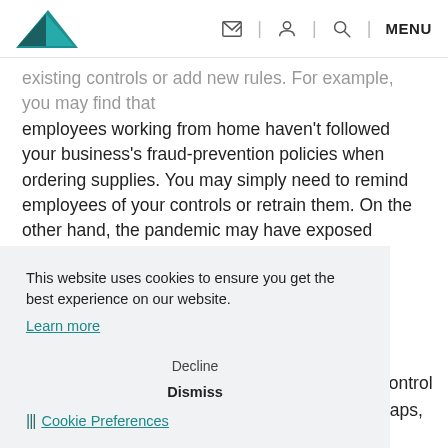[Logo] [email icon] | [person icon] | [search icon] | MENU
existing controls or add new rules. For example, you may find that employees working from home haven't followed your business's fraud-prevention policies when ordering supplies. You may simply need to remind employees of your controls or retrain them. On the other hand, the pandemic may have exposed existing gaps in controls.
This website uses cookies to ensure you get the best experience on our website.
Learn more
Decline
Dismiss
🎛 Cookie Preferences
control gaps, e individual, such fficer. Contact us ssment of your